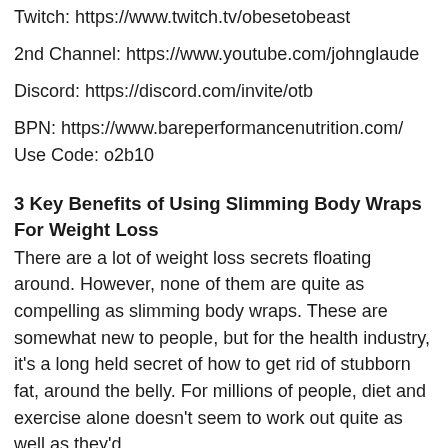Twitch: https://www.twitch.tv/obesetobeast
2nd Channel: https://www.youtube.com/johnglaude
Discord: https://discord.com/invite/otb
BPN: https://www.bareperformancenutrition.com/ Use Code: o2b10
3 Key Benefits of Using Slimming Body Wraps For Weight Loss
There are a lot of weight loss secrets floating around. However, none of them are quite as compelling as slimming body wraps. These are somewhat new to people, but for the health industry, it's a long held secret of how to get rid of stubborn fat, around the belly. For millions of people, diet and exercise alone doesn't seem to work out quite as well as they'd